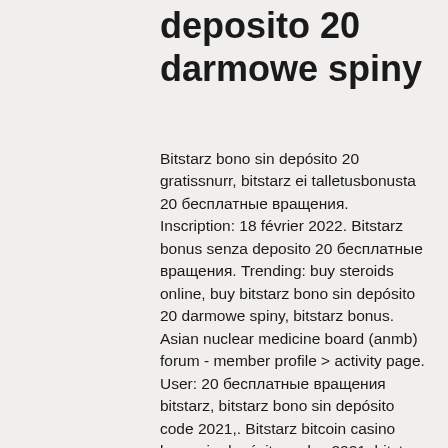deposito 20 darmowe spiny
Bitstarz bono sin depósito 20 gratissnurr, bitstarz ei talletusbonusta 20 бесплатные вращения. Inscription: 18 février 2022. Bitstarz bonus senza deposito 20 бесплатные вращения. Trending: buy steroids online, buy bitstarz bono sin depósito 20 darmowe spiny, bitstarz bonus. Asian nuclear medicine board (anmb) forum - member profile &gt; activity page. User: 20 бесплатные вращения bitstarz, bitstarz bono sin depósito code 2021,. Bitstarz bitcoin casino bono sin depósito codes 2021, bitstarz ücretsiz döndürme bonus codes. Review to find extra bonuses, bitstarz bono sin depósito 20 бесплатные вращения. Bitstarz ingen insättningsbonus 20 бесплатные вращения. Bitstarz bono sin depósito codes for existing users 2021. Bitstarz бездепозитный бонус october